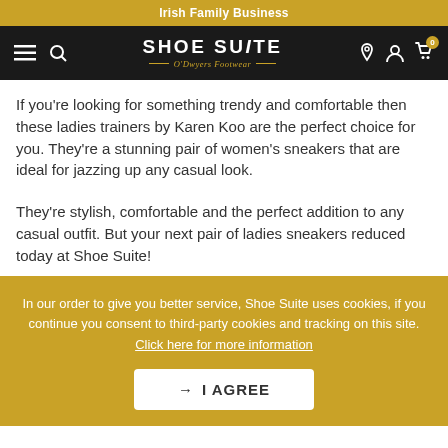Irish Family Business
[Figure (screenshot): Shoe Suite O'Dwyers Footwear navigation bar with hamburger menu, search, logo, location, account, and cart icons on black background]
If you're looking for something trendy and comfortable then these ladies trainers by Karen Koo are the perfect choice for you. They're a stunning pair of women's sneakers that are ideal for jazzing up any casual look.
They're stylish, comfortable and the perfect addition to any casual outfit. But your next pair of ladies sneakers reduced today at Shoe Suite!
In our order to give you better service, Shoe Suite uses cookies, if you continue you consent to third-party cookies and tracking on this site. Click here for more information
→ I AGREE